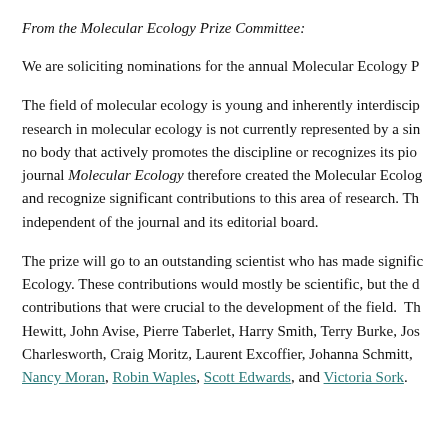From the Molecular Ecology Prize Committee:
We are soliciting nominations for the annual Molecular Ecology P…
The field of molecular ecology is young and inherently interdisciplinary… research in molecular ecology is not currently represented by a single society… no body that actively promotes the discipline or recognizes its pioneers… journal Molecular Ecology therefore created the Molecular Ecology… and recognize significant contributions to this area of research. Th… independent of the journal and its editorial board.
The prize will go to an outstanding scientist who has made significant contributions to Molecular Ecology. These contributions would mostly be scientific, but the d… contributions that were crucial to the development of the field. Th… Hewitt, John Avise, Pierre Taberlet, Harry Smith, Terry Burke, Jos… Charlesworth, Craig Moritz, Laurent Excoffier, Johanna Schmitt, … Nancy Moran, Robin Waples, Scott Edwards, and Victoria Sork.